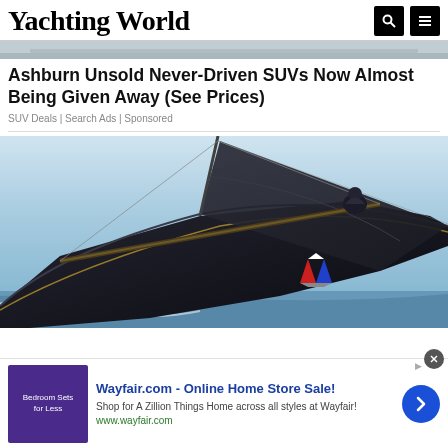Yachting World
[Figure (photo): Partial top of a boat/yacht image, light grey/blue tones, cropped]
Ashburn Unsold Never-Driven SUVs Now Almost Being Given Away (See Prices)
SUV Deals | Search Ads | Sponsored
[Figure (photo): Close-up photo of a large dark racing sailboat with a sailor on deck, dark sails against a blue sky; a smaller sailboat with a red, white, and blue spinnaker visible in the background]
[Figure (other): Advertisement banner for Wayfair.com - Online Home Store Sale. Shows bedroom furniture image on left with purple background text 'Bedroom Sets for Less', Wayfair ad content in center, and a blue circular arrow button on right. Text: Wayfair.com - Online Home Store Sale! Shop for A Zillion Things Home across all styles at Wayfair! www.wayfair.com]